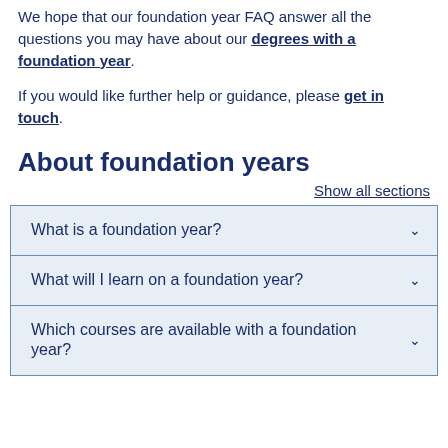We hope that our foundation year FAQ answer all the questions you may have about our degrees with a foundation year.
If you would like further help or guidance, please get in touch.
About foundation years
Show all sections
What is a foundation year?
What will I learn on a foundation year?
Which courses are available with a foundation year?